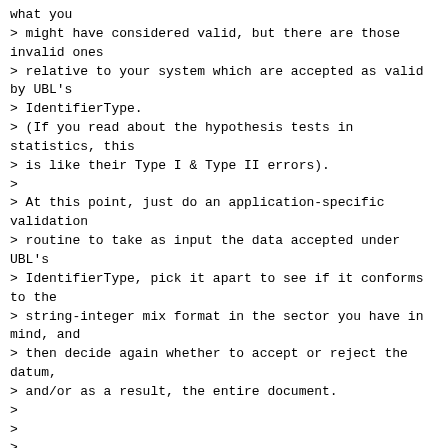what you
> might have considered valid, but there are those invalid ones
> relative to your system which are accepted as valid by UBL's
> IdentifierType.
> (If you read about the hypothesis tests in statistics, this
> is like their Type I & Type II errors).
>
> At this point, just do an application-specific validation
> routine to take as input the data accepted under UBL's
> IdentifierType, pick it apart to see if it conforms to the
> string-integer mix format in the sector you have in mind, and
> then decide again whether to accept or reject the datum,
> and/or as a result, the entire document.
>
>
>
> Best Regards,
> Chin Chee-Kai
> SoftML
> Tel: +65-6820-2979
> Fax: +65-6743-7875
> Email: cheekai@SoftML.Net